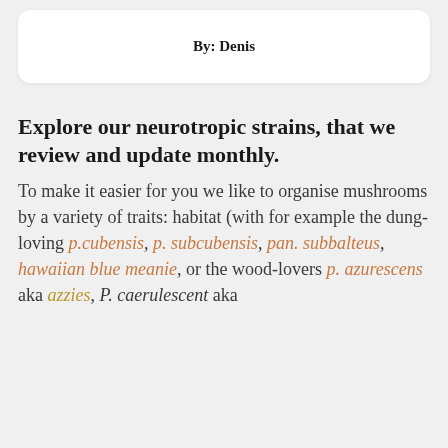By: Denis
Explore our neurotropic strains, that we review and update monthly.
To make it easier for you we like to organise mushrooms by a variety of traits: habitat (with for example the dung-loving p.cubensis, p. subcubensis, pan. subbalteus, hawaiian blue meanie, or the wood-lovers p. azurescens aka azzies, P. caerulescent aka